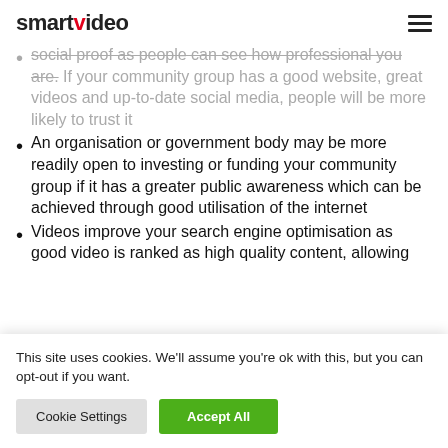smartvideo
social proof as people can see how professional you are. If your community group has a good website, great videos and up-to-date social media, people will be more likely to trust it
An organisation or government body may be more readily open to investing or funding your community group if it has a greater public awareness which can be achieved through good utilisation of the internet
Videos improve your search engine optimisation as good video is ranked as high quality content, allowing
This site uses cookies. We'll assume you're ok with this, but you can opt-out if you want.